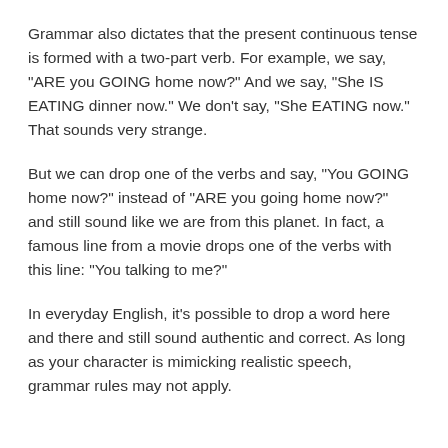Grammar also dictates that the present continuous tense is formed with a two-part verb. For example, we say, “ARE you GOING home now?” And we say, “She IS EATING dinner now.” We don’t say, “She EATING now.” That sounds very strange.
But we can drop one of the verbs and say, “You GOING home now?” instead of “ARE you going home now?” and still sound like we are from this planet. In fact, a famous line from a movie drops one of the verbs with this line: “You talking to me?”
In everyday English, it’s possible to drop a word here and there and still sound authentic and correct. As long as your character is mimicking realistic speech, grammar rules may not apply.